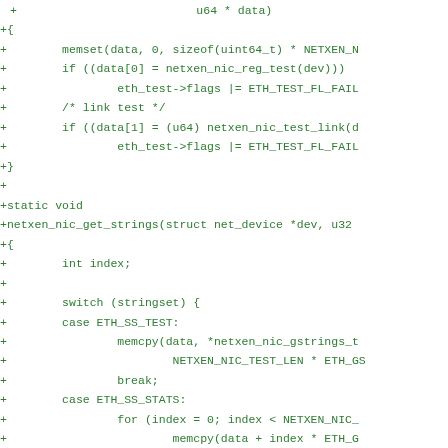diff/patch code snippet showing additions to netxen_nic driver functions including self-test and get_strings implementations